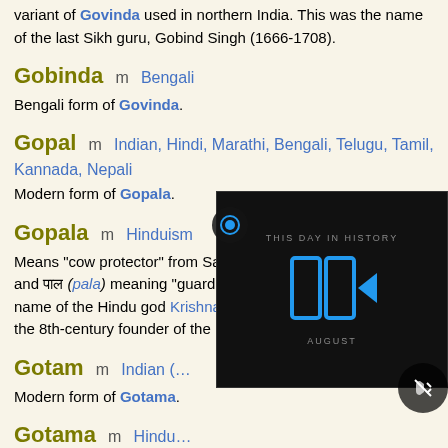variant of Govinda used in northern India. This was the name of the last Sikh guru, Gobind Singh (1666-1708).
Gobinda  m  Bengali
Bengali form of Govinda.
Gopal  m  Indian, Hindi, Marathi, Bengali, Telugu, Tamil, Kannada, Nepali
Modern form of Gopala.
Gopala  m  Hinduism
Means "cow protector" from Sanskrit गो (go) meaning "cow" and पाल (pala) meaning "guard, protector". This is another name of the Hindu god Krishna. This name was also borne by the 8th-century founder of the Pala Empire in Bengal.
Gotam  m  Indian (…
Modern form of Gotama.
Gotama  m  Hindu…
Means "the best ox" from… (tama) meaning "best". In…
[Figure (screenshot): Overlaid video widget showing 'THIS DAY IN HISTORY' with a play button icon and 'AUGUST' label on dark background, with mute button and record circle button.]